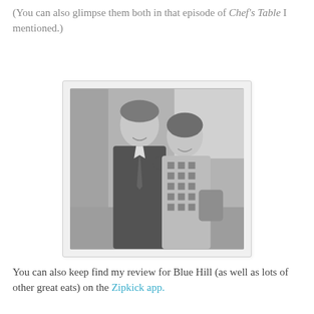(You can also glimpse them both in that episode of Chef's Table I mentioned.)
[Figure (photo): Black and white photo of two people posing together, a man in a dark suit with a tie on the left and a woman in a patterned dress on the right, inside a restaurant or event venue.]
You can also keep find my review for Blue Hill (as well as lots of other great eats) on the Zipkick app.